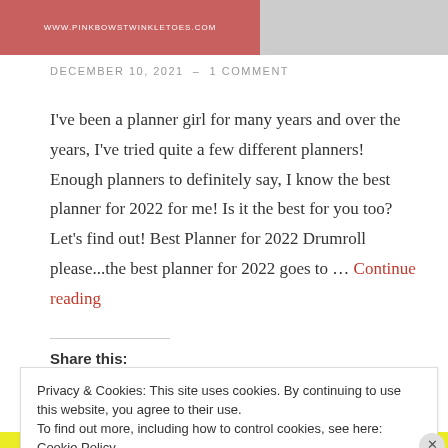[Figure (photo): Top banner with pink/red background showing website URL on left and a photo of a person on the right]
DECEMBER 10, 2021 – 1 COMMENT
I've been a planner girl for many years and over the years, I've tried quite a few different planners! Enough planners to definitely say, I know the best planner for 2022 for me! Is it the best for you too? Let's find out! Best Planner for 2022 Drumroll please...the best planner for 2022 goes to … Continue reading
Share this:
Privacy & Cookies: This site uses cookies. By continuing to use this website, you agree to their use. To find out more, including how to control cookies, see here: Cookie Policy
Close and accept